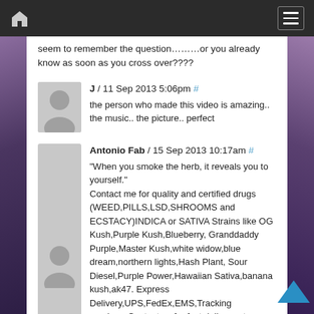Navigation bar with home icon and menu button
seem to remember the question........or you already know as soon as you cross over????
J / 11 Sep 2013 5:06pm # the person who made this video is amazing.. the music.. the picture.. perfect
Antonio Fab / 15 Sep 2013 10:17am # "When you smoke the herb, it reveals you to yourself." Contact me for quality and certified drugs (WEED,PILLS,LSD,SHROOMS and ECSTACY)INDICA or SATIVA Strains like OG Kush,Purple Kush,Blueberry, Granddaddy Purple,Master Kush,white widow,blue dream,northern lights,Hash Plant, Sour Diesel,Purple Power,Hawaiian Sativa,banana kush,ak47. Express Delivery,UPS,FedEx,EMS,Tracking numbers.Contact us for fast delivery at